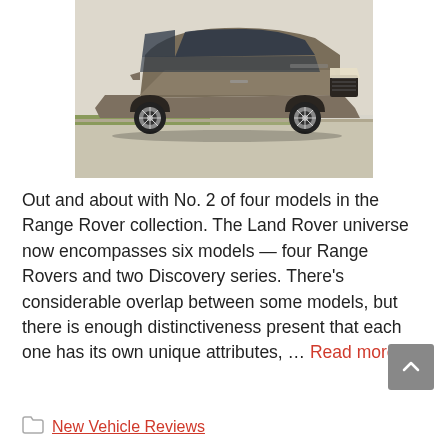[Figure (photo): A gray/bronze Land Rover Range Rover Sport SUV photographed from the front-left angle, parked on a street with grass and a building visible in the background.]
Out and about with No. 2 of four models in the Range Rover collection. The Land Rover universe now encompasses six models — four Range Rovers and two Discovery series. There's considerable overlap between some models, but there is enough distinctiveness present that each one has its own unique attributes, … Read more
New Vehicle Reviews